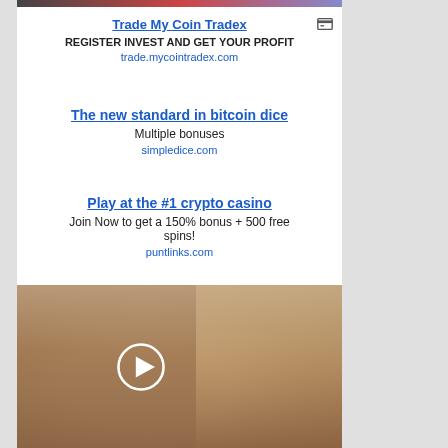[Figure (photo): Top banner strip with colorful gradient]
Trade My Coin Tradex
REGISTER INVEST AND GET YOUR PROFIT
trade.mycointradex.com
The new standard in bitcoin dice
Multiple bonuses
simpledice.com
Play at the #1 crypto casino
Join Now to get a 150% bonus + 500 free spins!
puntlinks.com
[Figure (photo): Photo of a woman in a dress with a play button overlay]